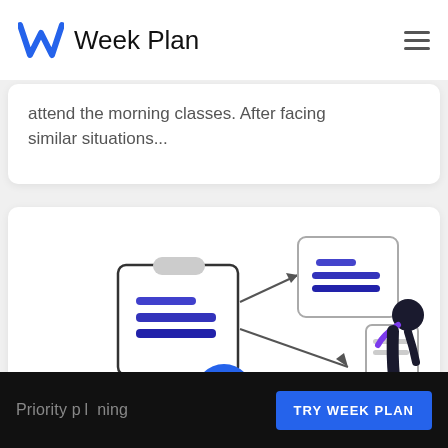Week Plan
attend the morning classes. After facing similar situations...
[Figure (illustration): Diagram showing a clipboard with lines branching via arrows to a document card (upper right) and a person using a phone (lower right), representing task planning and delegation workflow.]
Priority planning  TRY WEEK PLAN